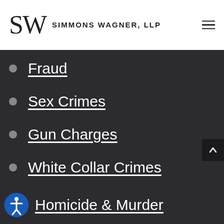SIMMONS WAGNER, LLP
Fraud
Sex Crimes
Gun Charges
White Collar Crimes
Homicide & Murder